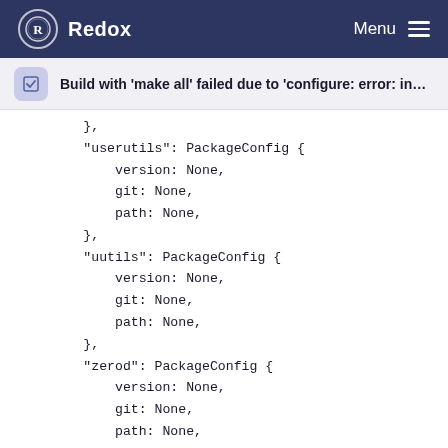Redox   Menu
Build with 'make all' failed due to 'configure: error: in r...
},
"userutils": PackageConfig {
    version: None,
    git: None,
    path: None,
},
"uutils": PackageConfig {
    version: None,
    git: None,
    path: None,
},
"zerod": PackageConfig {
    version: None,
    git: None,
    path: None,
},
},
files: [